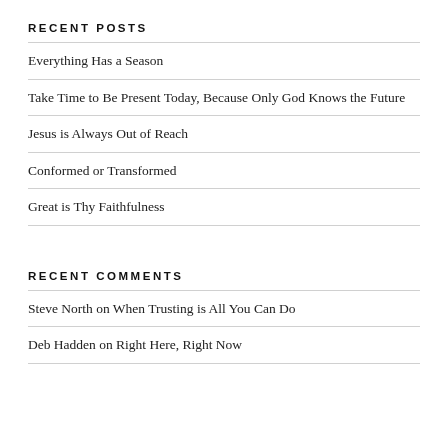RECENT POSTS
Everything Has a Season
Take Time to Be Present Today, Because Only God Knows the Future
Jesus is Always Out of Reach
Conformed or Transformed
Great is Thy Faithfulness
RECENT COMMENTS
Steve North on When Trusting is All You Can Do
Deb Hadden on Right Here, Right Now